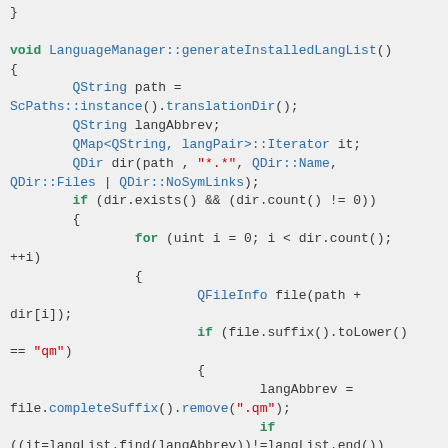[Figure (screenshot): C++ source code snippet showing the LanguageManager::generateInstalledLangList() function implementation with syntax highlighting. Keywords in green, strings in red, identifiers in blue/dark.]